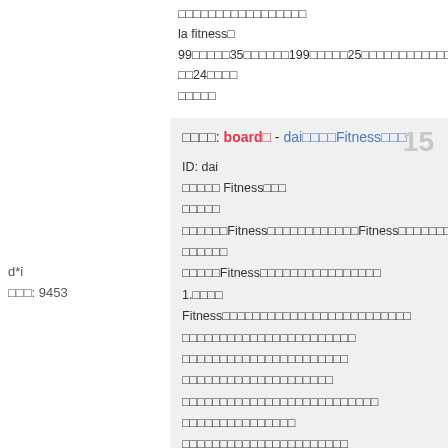□□□□□□□□□□□□□□□□□
la fitness□
99□□□□□35□□□□□□199□□□□□25□□□□□□□□□□□□□□□□□□
□□24□□□□
□□□□□
□□□□: board□ - dai□□□□Fitness□□□
ID: dai
□□□□□ Fitness□□□
□□□□□
□□□□□□Fitness□□□□□□□□□□□□Fitness□□□□□□□□□□□□□□□
□□□□□□
□□□□□Fitness□□□□□□□□□□□□□□□□
1.□□□□
Fitness□□□□□□□□□□□□□□□□□□□□□□□□□
□□□□□□□□□□□□□□□□□□□□□□□
□□□□□□□□□□□□□□□□□□□□□□
□□□□□□□□□□□□□□□□□□□□
□□□□□□□□□□□□□□□□□□□□□□□□□□
□□□□□□□□□□□□□□□
□□□□□□□□□□□□□□□□□□□□□□
□□□□□□□□□□□□□□idFitness□□□□